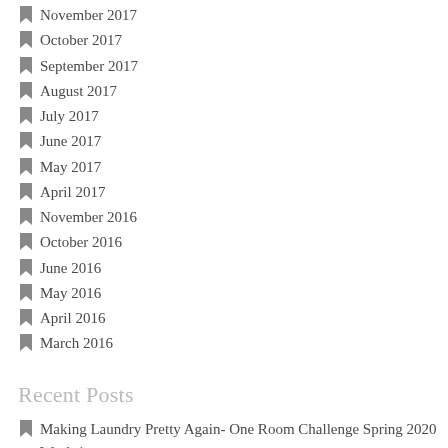November 2017
October 2017
September 2017
August 2017
July 2017
June 2017
May 2017
April 2017
November 2016
October 2016
June 2016
May 2016
April 2016
March 2016
Recent Posts
Making Laundry Pretty Again- One Room Challenge Spring 2020 Week 1
Fun and Beautiful Summer Dresses
New Pair of Wings One Room Challenge Week 6 REVEAL- Family Room and Kitchen Makeover
New Pair of Wings One Room Challenge Week 5- Family Room and Kitchen Makeover
New Pair of Wings One Room Challenge Week 4- Family Room and Kitchen Makeover